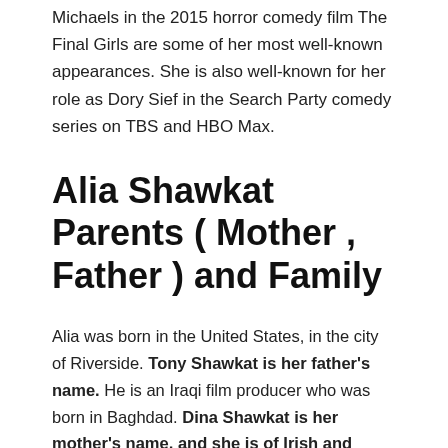Michaels in the 2015 horror comedy film The Final Girls are some of her most well-known appearances. She is also well-known for her role as Dory Sief in the Search Party comedy series on TBS and HBO Max.
Alia Shawkat Parents ( Mother , Father ) and Family
Alia was born in the United States, in the city of Riverside. Tony Shawkat is her father's name. He is an Iraqi film producer who was born in Baghdad. Dina Shawkat is her mother's name, and she is of Irish and Italian origin. Paul Burke, an actor, was her maternal grandpa. Alia was born and raised in Palm Springs,